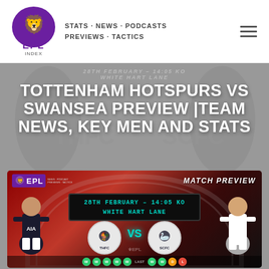EPL INDEX — STATS · NEWS · PODCASTS · PREVIEWS · TACTICS
28TH FEBRUARY – 14:05 KO
WHITE HART LANE
TOTTENHAM HOTSPURS VS SWANSEA PREVIEW |TEAM NEWS, KEY MEN AND STATS
[Figure (infographic): EPL Index Match Preview graphic for Tottenham Hotspurs vs Swansea City. Shows EPL Index logo top-left, MATCH PREVIEW text top-right, arch stadium background, digital scoreboard reading '28TH FEBRUARY – 14:05 KO / WHITE HART LANE', Tottenham (THFC) and Swansea (SCFC) badge circles with VS text in teal, player figures on left (Dele Alli in AIA Spurs kit) and right (Swansea player). Form dots row at bottom showing W W W W W for Spurs and W W D for Swansea.]